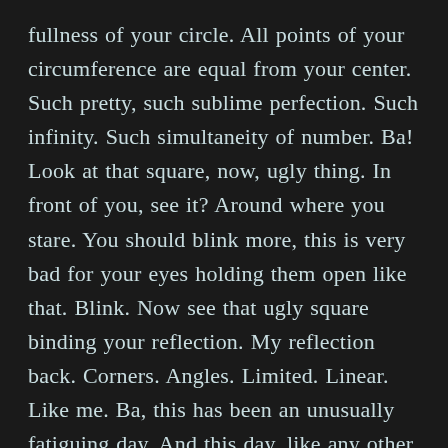fullness of your circle. All points of your circumference are equal from your center. Such pretty, such sublime perfection. Such infinity. Such simultaneity of number. Ba! Look at that square, now, ugly thing. In front of you, see it? Around where you stare. You should blink more, this is very bad for your eyes holding them open like that. Blink. Now see that ugly square binding your reflection. My reflection back. Corners. Angles. Limited. Linear. Like me. Ba, this has been an unusually fatiguing day. And this day, like any other day is this day now. Here. Now. Endlessly now. Nothing but now, only now forever and always now. I know for you it is different. I see it is different from here. Good Christ you can see it